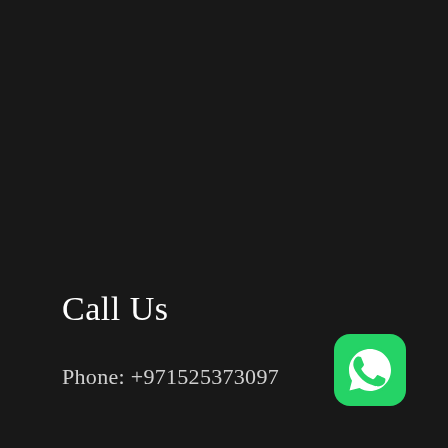Call Us
Phone: +971525373097
[Figure (logo): WhatsApp logo icon — green rounded square with white telephone handset in speech bubble]